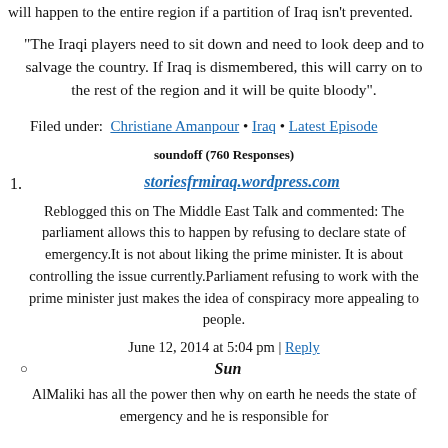will happen to the entire region if a partition of Iraq isn't prevented.
"The Iraqi players need to sit down and need to look deep and to salvage the country. If Iraq is dismembered, this will carry on to the rest of the region and it will be quite bloody".
Filed under:  Christiane Amanpour • Iraq • Latest Episode
soundoff (760 Responses)
1. storiesfrmiraq.wordpress.com
Reblogged this on The Middle East Talk and commented: The parliament allows this to happen by refusing to declare state of emergency.It is not about liking the prime minister. It is about controlling the issue currently.Parliament refusing to work with the prime minister just makes the idea of conspiracy more appealing to people.
June 12, 2014 at 5:04 pm | Reply
Sun
AlMaliki has all the power then why on earth he needs the state of emergency and he is responsible for